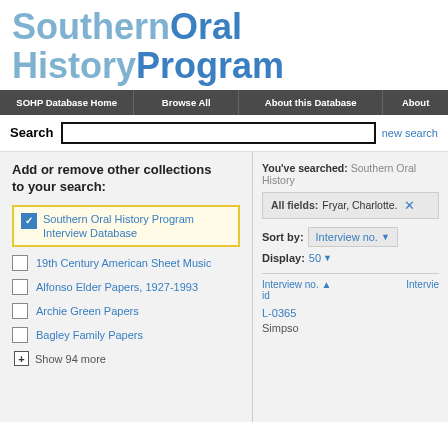Southern Oral History Program
SOHP Database Home | Browse All | About this Database | About
Search | new search
Add or remove other collections to your search:
Southern Oral History Program Interview Database (checked)
19th Century American Sheet Music
Alfonso Elder Papers, 1927-1993
Archie Green Papers
Bagley Family Papers
Show 94 more
You've searched: Southern Oral History...
All fields: Fryar, Charlotte. ✕
Sort by: Interview no. ▼
Display: 50 ▼
Interview no. ▲
id
Intervie...
L-0365
Simpso...